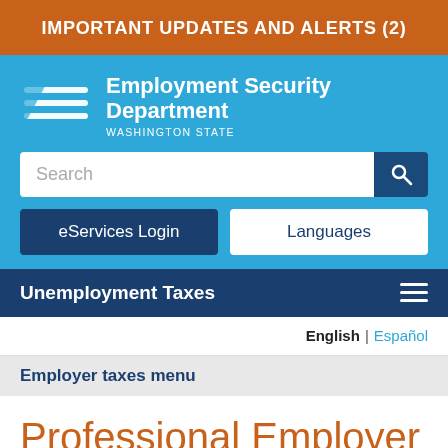IMPORTANT UPDATES AND ALERTS (2)
[Figure (logo): Employment Security Department Washington State logo with horizontal wave lines and text]
Search
eServices Login
Languages
Unemployment Taxes
English | Español
Employer taxes menu
Professional Employer Organization